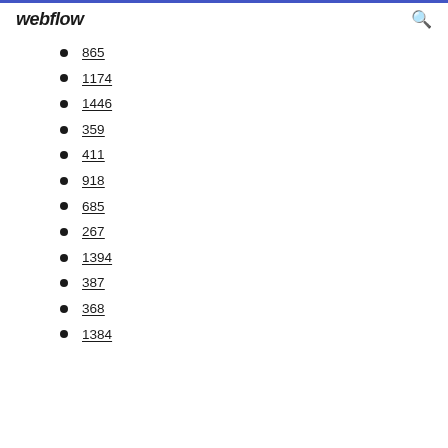webflow
865
1174
1446
359
411
918
685
267
1394
387
368
1384